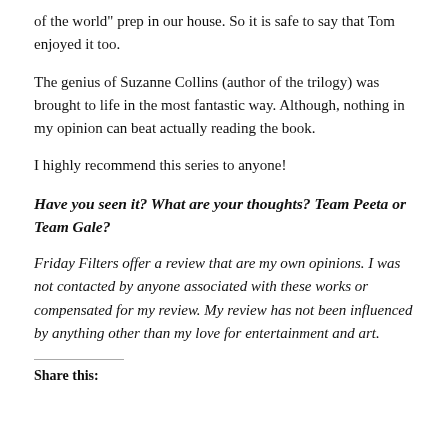of the world" prep in our house. So it is safe to say that Tom enjoyed it too.
The genius of Suzanne Collins (author of the trilogy) was brought to life in the most fantastic way. Although, nothing in my opinion can beat actually reading the book.
I highly recommend this series to anyone!
Have you seen it? What are your thoughts? Team Peeta or Team Gale?
Friday Filters offer a review that are my own opinions. I was not contacted by anyone associated with these works or compensated for my review. My review has not been influenced by anything other than my love for entertainment and art.
Share this: